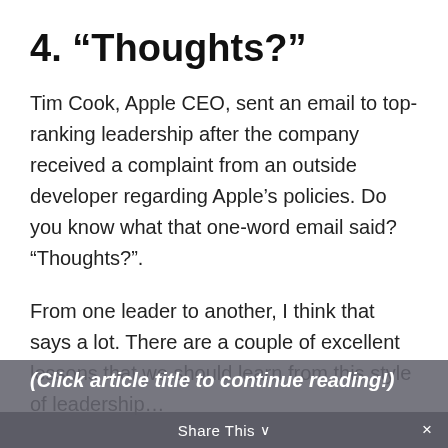4. “Thoughts?”
Tim Cook, Apple CEO, sent an email to top-ranking leadership after the company received a complaint from an outside developer regarding Apple’s policies. Do you know what that one-word email said? “Thoughts?”.
From one leader to another, I think that says a lot. There are a couple of excellent lessons that we should learn from this style of leadership…(Click article title to continue reading!)